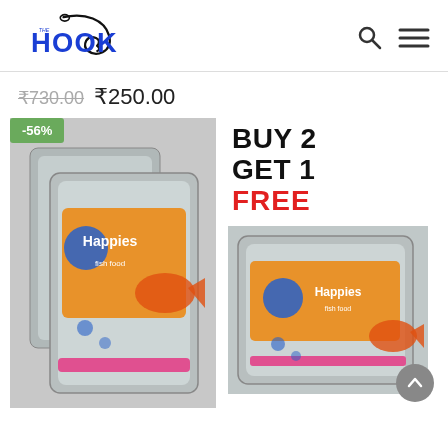The Hook logo, search icon, menu icon
₹730.00  ₹250.00
[Figure (photo): Product image of fish food (Happies) in silver foil pouches with -56% discount badge, and a 'BUY 2 GET 1 FREE' promotional banner with another product image on the right.]